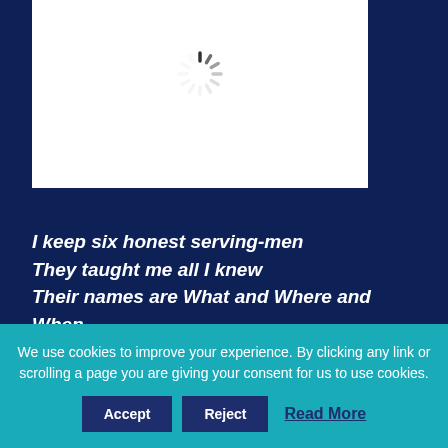[Figure (other): Loading spinner icon (animated wheel) centered in a white rectangular box]
I keep six honest serving-men
They taught me all I knew
Their names are What and Where and When
And how and Why and Who.
We use cookies to improve your experience. By clicking any link or scrolling a page you are giving your consent for us to use cookies. Accept Reject Read More